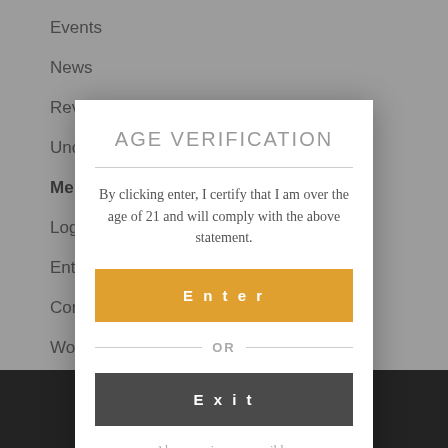Events
News
Reviews & Awards
Unc...
Me...
Log...
Ent...
Con...
Wo...
AGE VERIFICATION
By clicking enter, I certify that I am over the age of 21 and will comply with the above statement.
Enter
OR
Exit
Always enjoy responsibly.